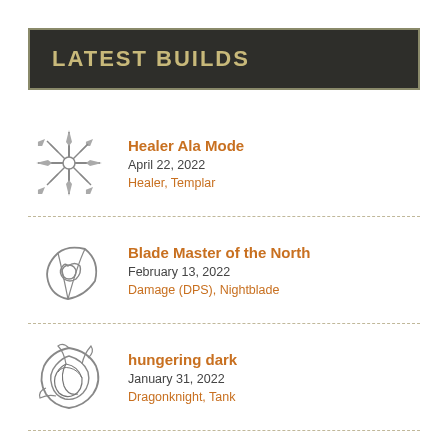LATEST BUILDS
Healer Ala Mode | April 22, 2022 | Healer, Templar
Blade Master of the North | February 13, 2022 | Damage (DPS), Nightblade
hungering dark | January 31, 2022 | Dragonknight, Tank
fish & chips | November 1, 2021